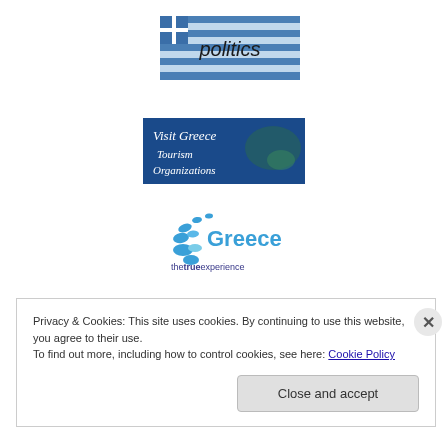[Figure (illustration): Politics banner with Greek flag stripes background and handwritten-style text reading 'politics']
[Figure (illustration): Visit Greece Tourism Organizations banner with dark blue background, white italic text and map of Greece]
[Figure (logo): Greece the true experience logo with blue oval dots and blue text 'Greece thetrueexperience']
Privacy & Cookies: This site uses cookies. By continuing to use this website, you agree to their use.
To find out more, including how to control cookies, see here: Cookie Policy